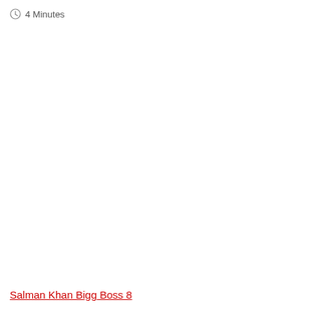4 Minutes
Salman Khan Bigg Boss 8